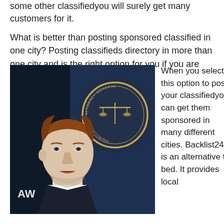some other classifiedyou will surely get many customers for it.
What is better than posting sponsored classified in one city? Posting classifieds directory in more than one city and is the right option for you if you are looking to do so.
[Figure (photo): A man with auburn hair speaking at a podium, with a circular official seal/badge visible in the background showing scales of justice and text around the border.]
When you select this option to post your classifiedyou can get them sponsored in many different cities. Backlist24 is an alternative to bed. It provides local